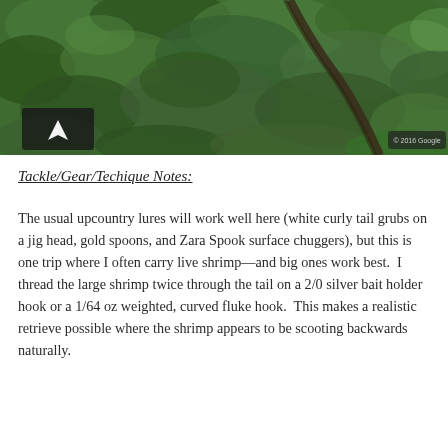[Figure (map): Aerial/satellite map view showing dense green tree canopy with a dark road or path visible. A navigation arrow icon is in the lower-left corner of the map, and a '© 2016 Google' watermark label appears in the lower-right area.]
Tackle/Gear/Techique Notes:
The usual upcountry lures will work well here (white curly tail grubs on a jig head, gold spoons, and Zara Spook surface chuggers), but this is one trip where I often carry live shrimp—and big ones work best.  I thread the large shrimp twice through the tail on a 2/0 silver bait holder hook or a 1/64 oz weighted, curved fluke hook.  This makes a realistic retrieve possible where the shrimp appears to be scooting backwards naturally.